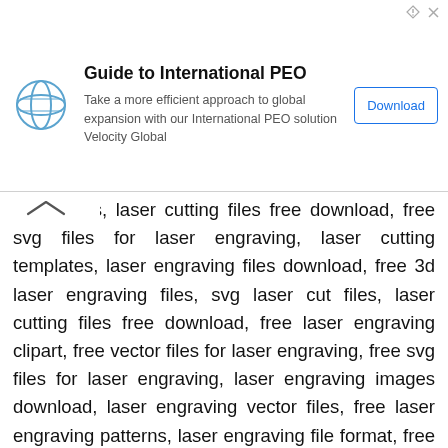[Figure (other): Advertisement banner for Velocity Global International PEO service with logo, headline, body text and Download button]
files, laser cutting files free download, free svg files for laser engraving, laser cutting templates, laser engraving files download, free 3d laser engraving files, svg laser cut files, laser cutting files free download, free laser engraving clipart, free vector files for laser engraving, free svg files for laser engraving, laser engraving images download, laser engraving vector files, free laser engraving patterns, laser engraving file format, free 3d laser engraving files, free cnc project files, cnc file download, tap file cnc, file cnc router, 3d cnc files, cnc laser files, cnc router file sharing, cnc svg files, wood design free download, cnc 2d design free download, free dxf files, cnc dxf files, cnc files 3d, dxf downloads, free dxf files download, 2d dxf files free download, cnc dxf files free download, free dxf files 3d, free alphabet dxf files, free dxf files for laser engraving, house